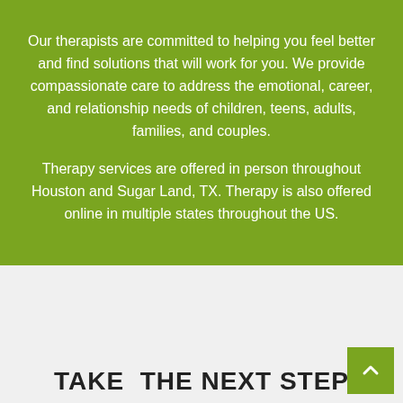Our therapists are committed to helping you feel better and find solutions that will work for you. We provide compassionate care to address the emotional, career, and relationship needs of children, teens, adults, families, and couples.
Therapy services are offered in person throughout Houston and Sugar Land, TX. Therapy is also offered online in multiple states throughout the US.
TAKE  THE NEXT STEP